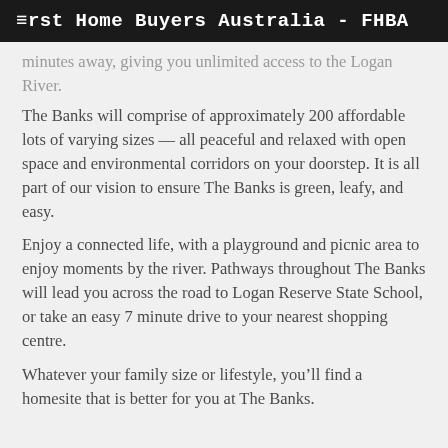First Home Buyers Australia - FHBA
minutes away, giving you unlimited access to the Logan River.
The Banks will comprise of approximately 200 affordable lots of varying sizes — all peaceful and relaxed with open space and environmental corridors on your doorstep. It is all part of our vision to ensure The Banks is green, leafy, and easy.
Enjoy a connected life, with a playground and picnic area to enjoy moments by the river. Pathways throughout The Banks will lead you across the road to Logan Reserve State School, or take an easy 7 minute drive to your nearest shopping centre.
Whatever your family size or lifestyle, you'll find a homesite that is better for you at The Banks.